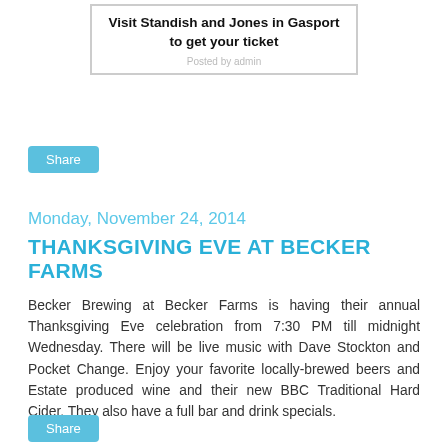[Figure (other): Advertisement image with bold text: 'Visit Standish and Jones in Gasport to get your ticket' with a decorative logo/image element]
Share
Monday, November 24, 2014
THANKSGIVING EVE AT BECKER FARMS
Becker Brewing at Becker Farms is having their annual Thanksgiving Eve celebration from 7:30 PM till midnight Wednesday. There will be live music with Dave Stockton and Pocket Change. Enjoy your favorite locally-brewed beers and Estate produced wine and their new BBC Traditional Hard Cider. They also have a full bar and drink specials.
Share